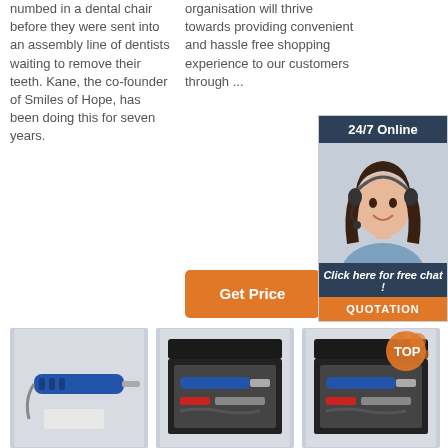numbed in a dental chair before they were sent into an assembly line of dentists waiting to remove their teeth. Kane, the co-founder of Smiles of Hope, has been doing this for seven years.
organisation will thrive towards providing convenient and hassle free shopping experience to our customers through ...
[Figure (other): Orange 'Get Price' button in middle column]
[Figure (other): Orange 'Get Price' button in left column]
[Figure (other): 24/7 Online chat widget with headset woman photo, 'Click here for free chat!' text, and orange QUOTATION button]
[Figure (photo): Product photo of a blue dental drill/handpiece tool on white stand]
[Figure (photo): Product photo of dental handpiece set in black box packaging]
[Figure (photo): Product photo of dental handpiece set in black box packaging with TOP orange splash badge overlay]